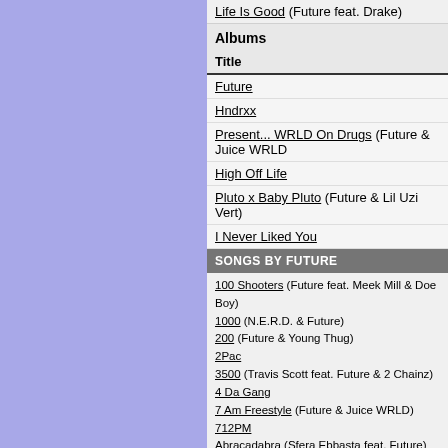Life Is Good (Future feat. Drake)
Albums
| Title |
| --- |
| Future |
| Hndrxx |
| Present... WRLD On Drugs (Future & Juice WRLD) |
| High Off Life |
| Pluto x Baby Pluto (Future & Lil Uzi Vert) |
| I Never Liked You |
SONGS BY FUTURE
100 Shooters (Future feat. Meek Mill & Doe Boy)
1000 (N.E.R.D. & Future)
200 (Future & Young Thug)
2Pac
3500 (Travis Scott feat. Future & 2 Chainz)
4 Da Gang
7 Am Freestyle (Future & Juice WRLD)
712PM
Abracadabra (Sfera Ebbasta feat. Future)
Abu's Boomin
Accepting My Flaws
After That (Future feat. Lil Wayne)
Afterlife
Ain't Coming Back
Ain't Livin Right (Future & Juice WRLD feat. Gunna)
Ain't No Time
Ain't No Way Around (Young Jeezy feat. Big Boi & Future)
All Bad (Future feat. Lil Uzi Vert)
All Da Smoke (Future & Young Thug)
All Good (Roddy Ricch feat. Future)